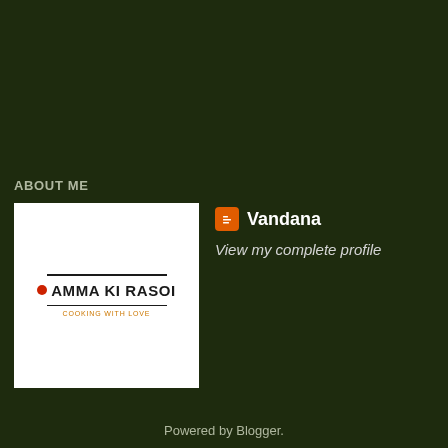ABOUT ME
[Figure (logo): Amma Ki Rasoi logo: black text with a red dot, two horizontal lines, orange tagline]
Vandana
View my complete profile
Powered by Blogger.